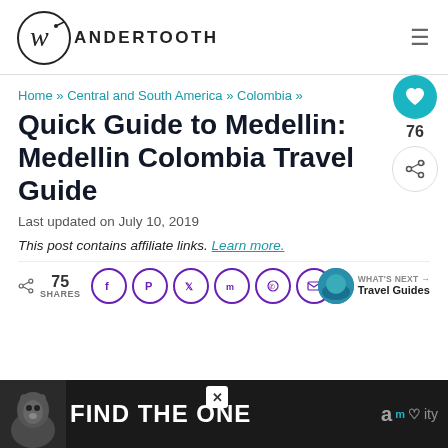Wandertooth
Home » Central and South America » Colombia »
Quick Guide to Medellin: Medellin Colombia Travel Guide
Last updated on July 10, 2019
This post contains affiliate links. Learn more.
75 SHARES
[Figure (screenshot): Ad banner: dark background with dog image and text FIND THE ONE with brand logo]
WHAT'S NEXT → Travel Guides